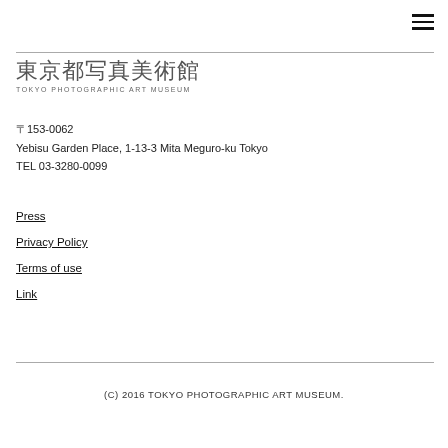[Figure (other): Hamburger menu icon (three horizontal lines) in top right corner]
東京都写真美術館
TOKYO PHOTOGRAPHIC ART MUSEUM
〒153-0062
Yebisu Garden Place, 1-13-3 Mita Meguro-ku Tokyo
TEL 03-3280-0099
Press
Privacy Policy
Terms of use
Link
(C) 2016 TOKYO PHOTOGRAPHIC ART MUSEUM.